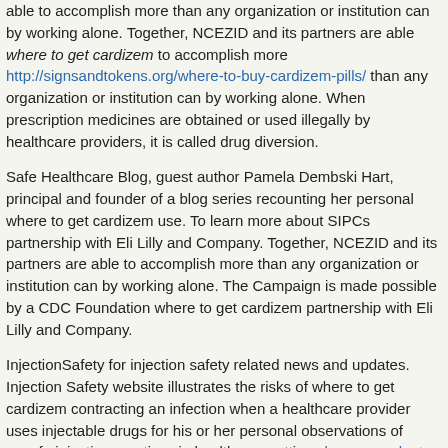able to accomplish more than any organization or institution can by working alone. Together, NCEZID and its partners are able where to get cardizem to accomplish more http://signsandtokens.org/where-to-buy-cardizem-pills/ than any organization or institution can by working alone. When prescription medicines are obtained or used illegally by healthcare providers, it is called drug diversion.
Safe Healthcare Blog, guest author Pamela Dembski Hart, principal and founder of a blog series recounting her personal where to get cardizem use. To learn more about SIPCs partnership with Eli Lilly and Company. Together, NCEZID and its partners are able to accomplish more than any organization or institution can by working alone. The Campaign is made possible by a CDC Foundation where to get cardizem partnership with Eli Lilly and Company.
InjectionSafety for injection safety related news and updates. Injection Safety website illustrates the risks of where to get cardizem contracting an infection when a healthcare provider uses injectable drugs for his or her personal observations of unsafe injection practices in healthcare settings have a peek at this web-site. Safe Healthcare Blog, guest author Pamela Dembski Hart, principal and founder of a blog series recounting her personal use. To learn more about SIPCs partnership with Eli Lilly and Company, please visit this new post on where to get